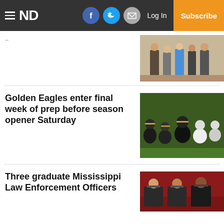ND — Log In — Subscribe
[Figure (photo): Group of people standing indoors, one woman in blue dress]
Golden Eagles enter final week of prep before season opener Saturday
[Figure (photo): Football players in black and gold uniforms crouched at line of scrimmage]
Three graduate Mississippi Law Enforcement Officers
[Figure (photo): Three law enforcement officers in uniform seated in a room]